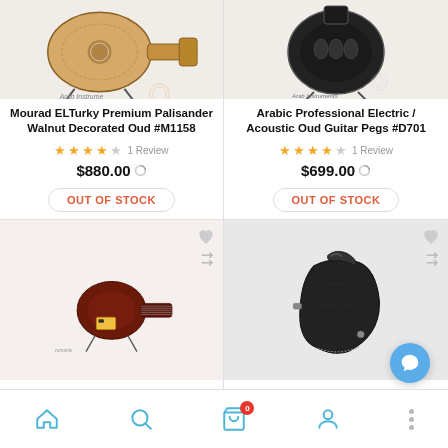[Figure (photo): Mourad ELTurky Premium Palisander Walnut Decorated Oud product photo on white background with Arab Instruments watermark]
Mourad ELTurky Premium Palisander Walnut Decorated Oud #M1158
★★★★☆ 1 Review
$880.00
OUT OF STOCK
[Figure (photo): Arabic Professional Electric / Acoustic Oud Guitar Pegs product photo on white background with Arab Instruments watermark]
Arabic Professional Electric / Acoustic Oud Guitar Pegs #D701
★★★★☆ 1 Review
$699.00
OUT OF STOCK
[Figure (photo): Electric oud in dark red/mahogany finish with built-in pickup, on stand, Arab Instruments branding]
[Figure (photo): Black padded gig bag / case for oud instrument]